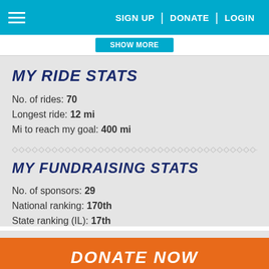SIGN UP | DONATE | LOGIN
MY RIDE STATS
No. of rides: 70
Longest ride: 12 mi
Mi to reach my goal: 400 mi
MY FUNDRAISING STATS
No. of sponsors: 29
National ranking: 170th
State ranking (IL): 17th
DONATE NOW
MY TOP SUPPORTERS